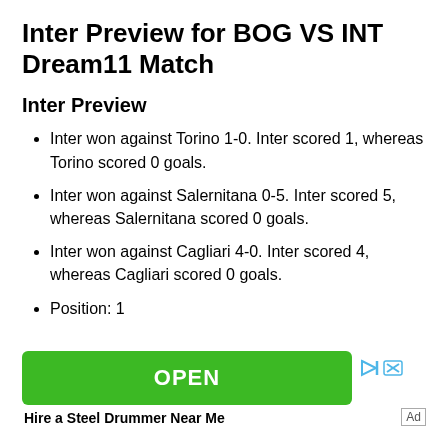Inter Preview for BOG VS INT Dream11 Match
Inter Preview
Inter won against Torino 1-0. Inter scored 1, whereas Torino scored 0 goals.
Inter won against Salernitana 0-5. Inter scored 5, whereas Salernitana scored 0 goals.
Inter won against Cagliari 4-0. Inter scored 4, whereas Cagliari scored 0 goals.
Position: 1
[Figure (other): Advertisement banner with green OPEN button and caption 'Hire a Steel Drummer Near Me']